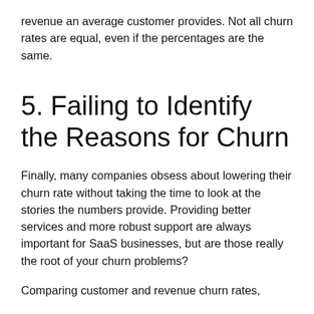revenue an average customer provides. Not all churn rates are equal, even if the percentages are the same.
5. Failing to Identify the Reasons for Churn
Finally, many companies obsess about lowering their churn rate without taking the time to look at the stories the numbers provide. Providing better services and more robust support are always important for SaaS businesses, but are those really the root of your churn problems?
Comparing customer and revenue churn rates,